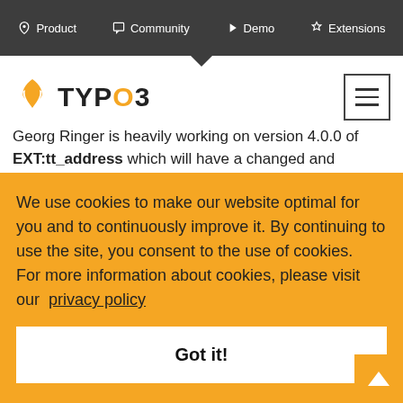Product | Community | Demo | Extensions
[Figure (logo): TYPO3 logo with orange flame icon and hamburger menu icon]
Georg Ringer is heavily working on version 4.0.0 of EXT:tt_address which will have a changed and improved code base in every area. To keep the quality high, the whole code [partially visible behind cookie overlay]
We use cookies to make our website optimal for you and to continuously improve it. By continuing to use the site, you consent to the use of cookies.
For more information about cookies, please visit our privacy policy
Got it!